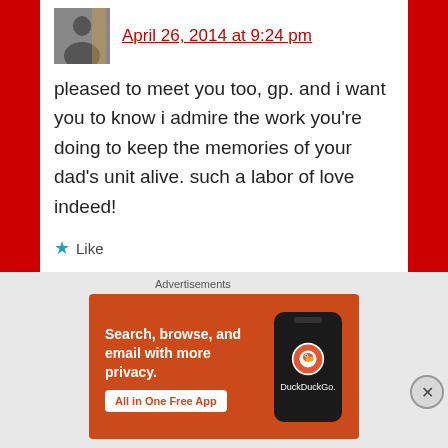April 26, 2014 at 9:24 pm
pleased to meet you too, gp. and i want you to know i admire the work you’re doing to keep the memories of your dad’s unit alive. such a labor of love indeed!
★ Like
Reply
[Figure (screenshot): DuckDuckGo advertisement banner with orange background, text 'Search, browse, and email with more privacy. All in One Free App', and a phone graphic showing the DuckDuckGo logo.]